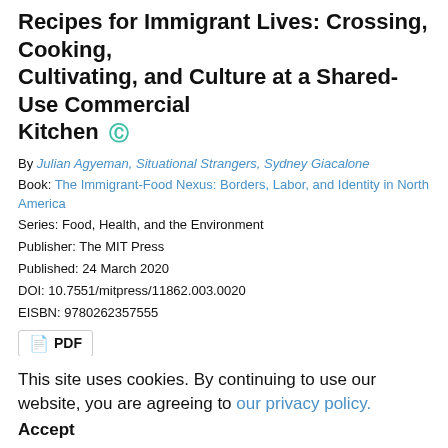Recipes for Immigrant Lives: Crossing, Cooking, Cultivating, and Culture at a Shared-Use Commercial Kitchen
By Julian Agyeman, Situational Strangers, Sydney Giacalone
Book: The Immigrant-Food Nexus: Borders, Labor, and Identity in North America
Series: Food, Health, and the Environment
Publisher: The MIT Press
Published: 24 March 2020
DOI: 10.7551/mitpress/11862.003.0020
EISBN: 9780262357555
PDF
Book Chapter
Series Foreword
By Julian Agyeman, Sydney Giacalone
Book: The Immigrant-Food Nexus: Borders, Labor, and Identity in North America
Series: Food, Health, and the Environment
Publisher: The MIT Press
This site uses cookies. By continuing to use our website, you are agreeing to our privacy policy.
Accept